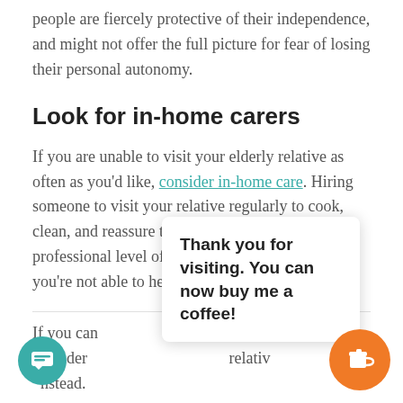people are fiercely protective of their independence, and might not offer the full picture for fear of losing their personal autonomy.
Look for in-home carers
If you are unable to visit your elderly relative as often as you'd like, consider in-home care. Hiring someone to visit your relative regularly to cook, clean, and reassure them is a good way to ensure a professional level of care for a loved one when you're not able to help yourself.
If you can                                                  worth consider                                               relativ instead.
Thank you for visiting. You can now buy me a coffee!
This is one of the most reassuring acts one can do to